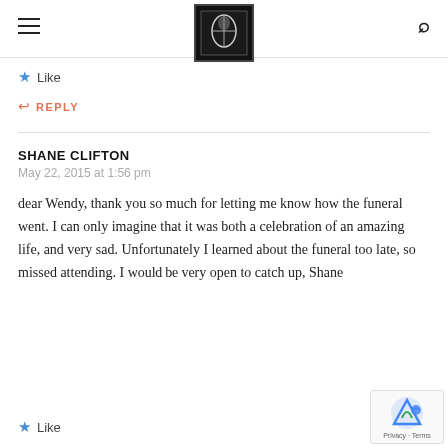Shane Clifton blog header with logo and navigation
Like
↩ REPLY
SHANE CLIFTON
May 22, 2015 at 1:56 pm
dear Wendy, thank you so much for letting me know how the funeral went. I can only imagine that it was both a celebration of an amazing life, and very sad. Unfortunately I learned about the funeral too late, so missed attending. I would be very open to catch up, Shane
Like